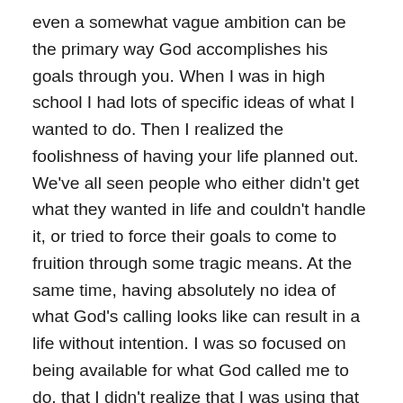even a somewhat vague ambition can be the primary way God accomplishes his goals through you. When I was in high school I had lots of specific ideas of what I wanted to do. Then I realized the foolishness of having your life planned out. We've all seen people who either didn't get what they wanted in life and couldn't handle it, or tried to force their goals to come to fruition through some tragic means. At the same time, having absolutely no idea of what God's calling looks like can result in a life without intention. I was so focused on being available for what God called me to do, that I didn't realize that I was using that as an excuse not to set the God-sized goals he was calling me towards. While I had some general ideas of what I wanted to do, you have to take intentional steps to accomplish God's calling, it's not as if filmmakers typically get handed the reigns to direct a feature film without having first directed a short film. I've heard it said like this: God can't drive a parked car. While I knew this on